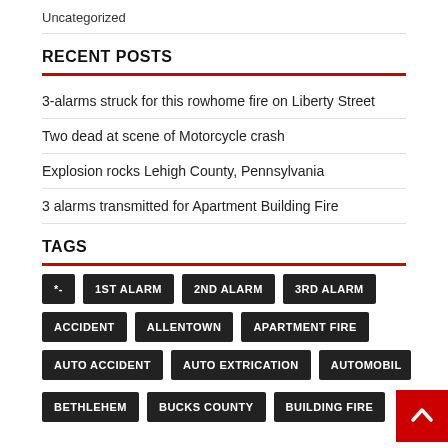Uncategorized
RECENT POSTS
3-alarms struck for this rowhome fire on Liberty Street
Two dead at scene of Motorcycle crash
Explosion rocks Lehigh County, Pennsylvania
3 alarms transmitted for Apartment Building Fire
TAGS
*-
1ST ALARM
2ND ALARM
3RD ALARM
ACCIDENT
ALLENTOWN
APARTMENT FIRE
AUTO ACCIDENT
AUTO EXTRICATION
AUTOMOBIL
BETHLEHEM
BUCKS COUNTY
BUILDING FIRE